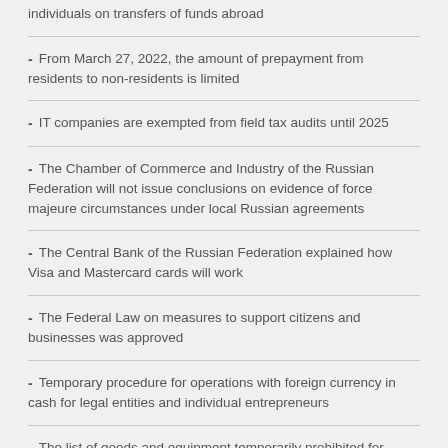individuals on transfers of funds abroad
From March 27, 2022, the amount of prepayment from residents to non-residents is limited
IT companies are exempted from field tax audits until 2025
The Chamber of Commerce and Industry of the Russian Federation will not issue conclusions on evidence of force majeure circumstances under local Russian agreements
The Central Bank of the Russian Federation explained how Visa and Mastercard cards will work
The Federal Law on measures to support citizens and businesses was approved
Temporary procedure for operations with foreign currency in cash for legal entities and individual entrepreneurs
The list of goods and equipment temporarily prohibited for export from Russia has been